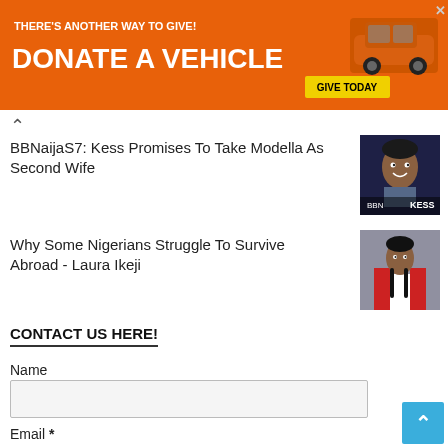[Figure (infographic): Orange ad banner: 'THERE'S ANOTHER WAY TO GIVE! DONATE A VEHICLE' with a car image and 'GIVE TODAY' button]
BBNaijaS7: Kess Promises To Take Modella As Second Wife
[Figure (photo): Thumbnail photo of a man (Kess) on dark blue background with 'KESS' label overlay]
Why Some Nigerians Struggle To Survive Abroad - Laura Ikeji
[Figure (photo): Thumbnail photo of a woman in white top and red jacket (Laura Ikeji)]
CONTACT US HERE!
Name
Email *